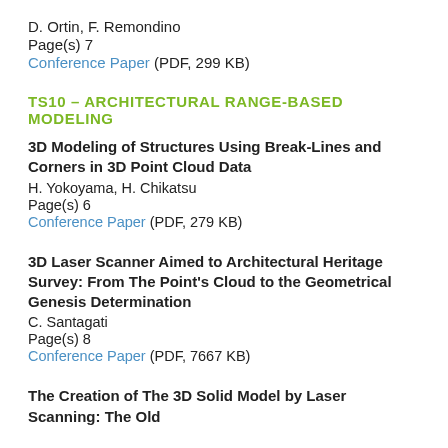D. Ortin, F. Remondino
Page(s) 7
Conference Paper (PDF, 299 KB)
TS10 – ARCHITECTURAL RANGE-BASED MODELING
3D Modeling of Structures Using Break-Lines and Corners in 3D Point Cloud Data
H. Yokoyama, H. Chikatsu
Page(s) 6
Conference Paper (PDF, 279 KB)
3D Laser Scanner Aimed to Architectural Heritage Survey: From The Point's Cloud to the Geometrical Genesis Determination
C. Santagati
Page(s) 8
Conference Paper (PDF, 7667 KB)
The Creation of The 3D Solid Model by Laser Scanning: The Old